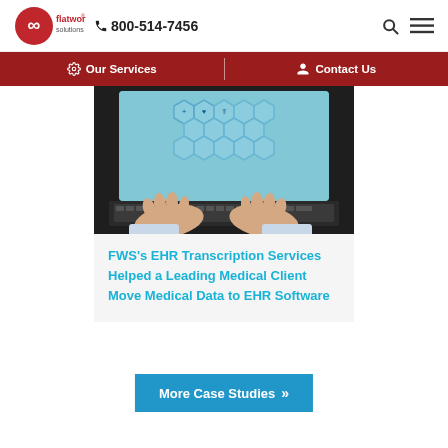flatworld solutions  800-514-7456
Our Services  |  Contact Us
[Figure (photo): Person's hands typing on a laptop keyboard, with a screen displaying hexagonal medical icons on a blue background.]
FWS's EHR Transcription Services Helped a Leading Medical Client Move Medical Data to EHR Software
More Case Studies >>